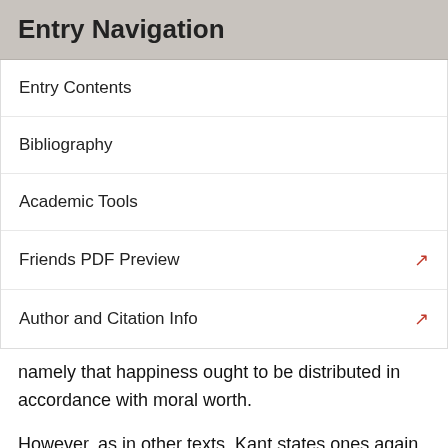Entry Navigation
Entry Contents
Bibliography
Academic Tools
Friends PDF Preview
Author and Citation Info
namely that happiness ought to be distributed in accordance with moral worth.
However, as in other texts, Kant states ones again that this is not an end we can ourselves bring about. It is the end that moral agents will want to obtain, and will want likewise to see their actions as somehow directed towards it. So, on the one hand, we must postulate God and immortality as conditions necessary for the just distribution of happiness; but on the other, what we contribute to the realization of HGi is our moral